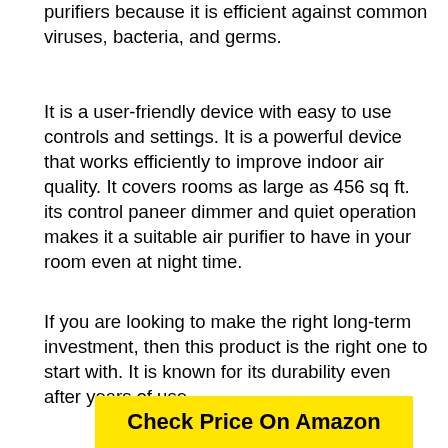purifiers because it is efficient against common viruses, bacteria, and germs.
It is a user-friendly device with easy to use controls and settings. It is a powerful device that works efficiently to improve indoor air quality. It covers rooms as large as 456 sq ft. its control paneer dimmer and quiet operation makes it a suitable air purifier to have in your room even at night time.
If you are looking to make the right long-term investment, then this product is the right one to start with. It is known for its durability even after years of use.
Check Price On Amazon